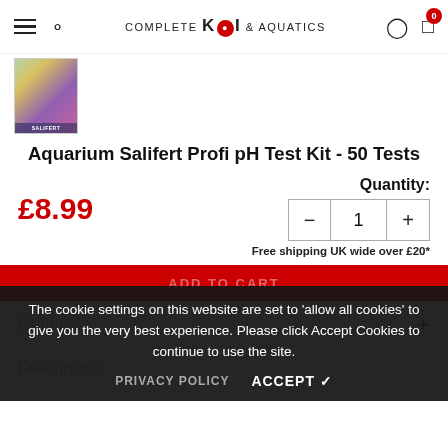Complete KOI & Aquatics — navigation header with hamburger menu, search, logo, user icon, cart (0)
[Figure (photo): Small product thumbnail image of Aquarium Salifert Profi pH Test Kit packaging]
Aquarium Salifert Profi pH Test Kit - 50 Tests
£8.99
Quantity:
− 1 +
Free shipping UK wide over £20*
ADD TO CART
The cookie settings on this website are set to 'allow all cookies' to give you the very best experience. Please click Accept Cookies to continue to use the site.
PRIVACY POLICY   ACCEPT ✓
Features
Description